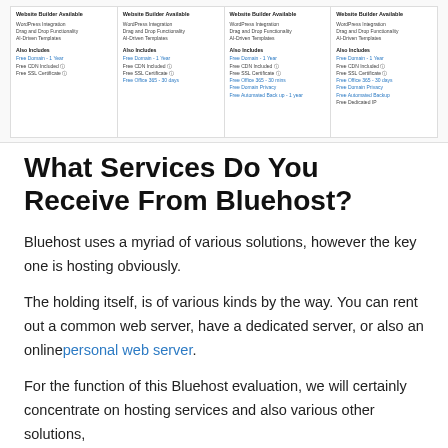[Figure (screenshot): Screenshot of Bluehost website builder pricing comparison columns showing four plan panels. Each panel contains 'Website Builder Available' section with WordPress Integration, Drag and Drop Functionality, AI-Driven Templates, and 'Also Includes' with Free Domain - 1 year, Free CDN Included, Free SSL Certificate, and higher plans showing Free Office 365 - 30 days, Free Domain Privacy, Free Automated Back up - 1 year, Free Dedicated IP.]
What Services Do You Receive From Bluehost?
Bluehost uses a myriad of various solutions, however the key one is hosting obviously.
The holding itself, is of various kinds by the way. You can rent out a common web server, have a dedicated server, or also an online personal web server.
For the function of this Bluehost evaluation, we will certainly concentrate on hosting services and also various other solutions,